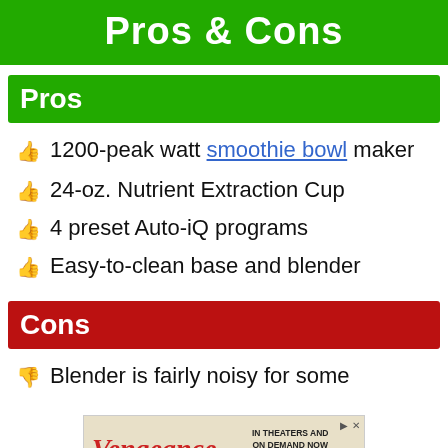Pros & Cons
Pros
1200-peak watt smoothie bowl maker
24-oz. Nutrient Extraction Cup
4 preset Auto-iQ programs
Easy-to-clean base and blender
Cons
Blender is fairly noisy for some
[Figure (other): Advertisement banner for 'Vengeance' movie - In Theaters and On Demand Now, Watch Now]